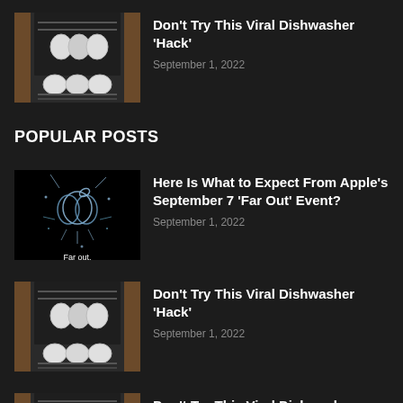[Figure (photo): Dishwasher open with dishes inside, wood panel surround]
Don't Try This Viral Dishwasher 'Hack'
September 1, 2022
POPULAR POSTS
[Figure (photo): Apple 'Far Out' event promotional image showing Apple logo made of water splash on dark background, with text 'Far out.']
Here Is What to Expect From Apple's September 7 'Far Out' Event?
September 1, 2022
[Figure (photo): Dishwasher open with dishes inside, wood panel surround]
Don't Try This Viral Dishwasher 'Hack'
September 1, 2022
[Figure (photo): Dishwasher open with dishes inside, wood panel surround]
Don't Try This Viral Dishwasher 'Hack'
September 1, 2022